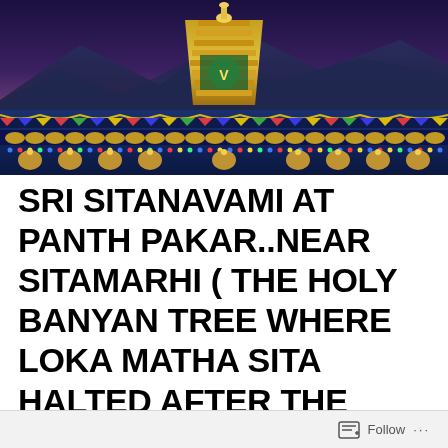[Figure (photo): Illuminated Hindu temple gopuram (tower) at dusk/night, decorated with colorful lights and ornaments. Mountains visible in the background with a twilight sky. The temple structure is richly decorated with golden and multicolored festive decorations.]
SRI SITANAVAMI AT PANTH PAKAR..NEAR SITAMARHI ( THE HOLY BANYAN TREE WHERE LOKA MATHA SITA HALTED AFTER THE WEDDING) 10 th May 2022
Follow ...